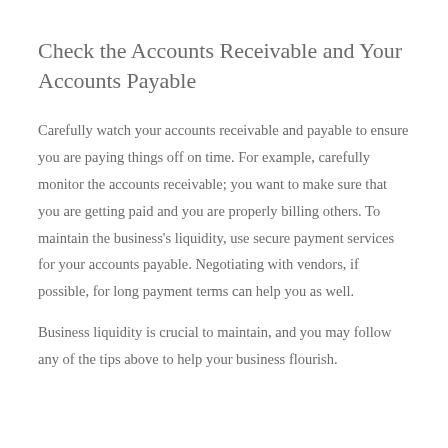Check the Accounts Receivable and Your Accounts Payable
Carefully watch your accounts receivable and payable to ensure you are paying things off on time. For example, carefully monitor the accounts receivable; you want to make sure that you are getting paid and you are properly billing others. To maintain the business's liquidity, use secure payment services for your accounts payable. Negotiating with vendors, if possible, for long payment terms can help you as well.
Business liquidity is crucial to maintain, and you may follow any of the tips above to help your business flourish.